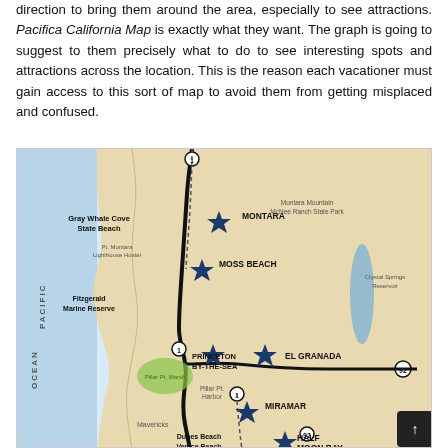direction to bring them around the area, especially to see attractions. Pacifica California Map is exactly what they want. The graph is going to suggest to them precisely what to do to see interesting spots and attractions across the location. This is the reason each vacationer must gain access to this sort of map to avoid them from getting misplaced and confused.
[Figure (map): Map of Pacifica California area showing coastal locations including Montara, Moss Beach, Princeton-by-the-Sea, El Granada, Miramar, Half Moon Bay, Gray Whale Cove State Beach, Fitzgerald Marine Reserve, Pillar Pt. Marsh, Pillar Pt. Harbor, Dunes Beach, Venice Beach, Mavericks, Crystal Springs Reservoir, Montara Mountain McNee Ranch State Park. Shows Pacific Ocean to the west, Highway 1 running along coast, Highway 92 to the east.]